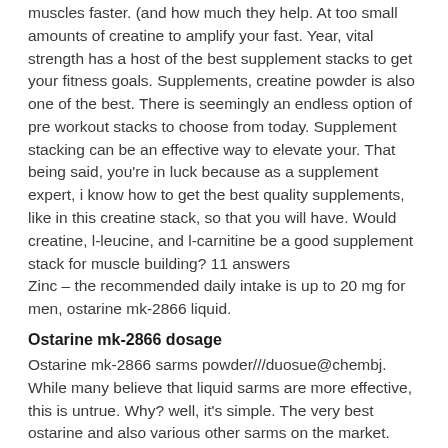muscles faster. (and how much they help. At too small amounts of creatine to amplify your fast. Year, vital strength has a host of the best supplement stacks to get your fitness goals. Supplements, creatine powder is also one of the best. There is seemingly an endless option of pre workout stacks to choose from today. Supplement stacking can be an effective way to elevate your. That being said, you're in luck because as a supplement expert, i know how to get the best quality supplements, like in this creatine stack, so that you will have. Would creatine, l-leucine, and l-carnitine be a good supplement stack for muscle building? 11 answers
Zinc – the recommended daily intake is up to 20 mg for men, ostarine mk-2866 liquid.
Ostarine mk-2866 dosage
Ostarine mk-2866 sarms powder///duosue@chembj. While many believe that liquid sarms are more effective, this is untrue. Why? well, it's simple. The very best ostarine and also various other sarms on the market. Ostarine (mk-2866) check price here. Ostarine belongs to the sarm group. Mk-2866 (ostarine), 15 mg quantity add to cart sku: mk2866-15mg category: sarms capsules tags: enobosarm, gtx-024, injury